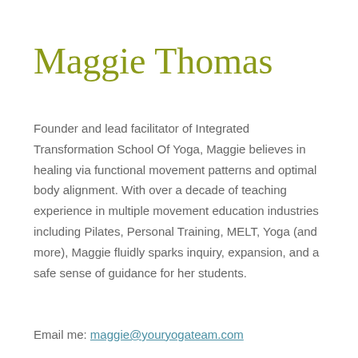Maggie Thomas
Founder and lead facilitator of Integrated Transformation School Of Yoga, Maggie believes in healing via functional movement patterns and optimal body alignment. With over a decade of teaching experience in multiple movement education industries including Pilates, Personal Training, MELT, Yoga (and more), Maggie fluidly sparks inquiry, expansion, and a safe sense of guidance for her students.
Email me: maggie@youryogateam.com